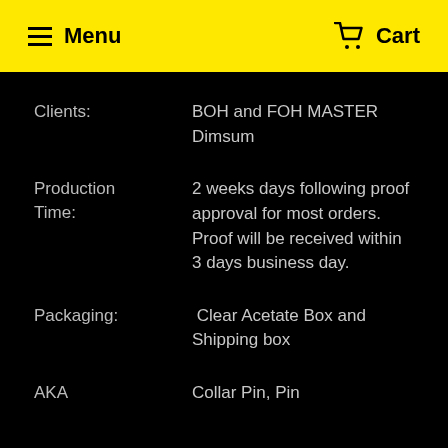Menu  Cart
Clients: BOH and FOH MASTER Dimsum
Production Time: 2 weeks days following proof approval for most orders. Proof will be received within 3 days business day.
Packaging: Clear Acetate Box and Shipping box
AKA Collar Pin, Pin
Email us for additional information on products found in this catalog,  for quantity price quotations or for special request items.